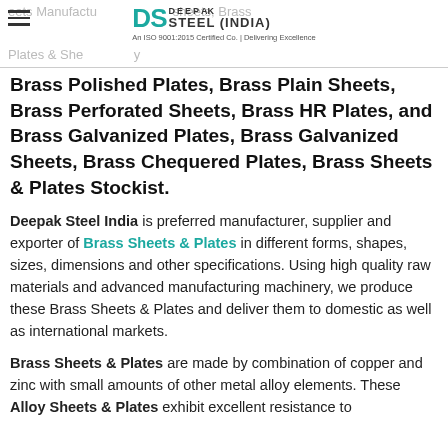Deepak Steel India — Brass Sheets & Plates Manufacturer | An ISO 9001:2015 Certified Co. | Delivering Excellence
Brass Polished Plates, Brass Plain Sheets, Brass Perforated Sheets, Brass HR Plates, and Brass Galvanized Plates, Brass Galvanized Sheets, Brass Chequered Plates, Brass Sheets & Plates Stockist.
Deepak Steel India is preferred manufacturer, supplier and exporter of Brass Sheets & Plates in different forms, shapes, sizes, dimensions and other specifications. Using high quality raw materials and advanced manufacturing machinery, we produce these Brass Sheets & Plates and deliver them to domestic as well as international markets.
Brass Sheets & Plates are made by combination of copper and zinc with small amounts of other metal alloy elements. These Alloy Sheets & Plates exhibit excellent resistance to